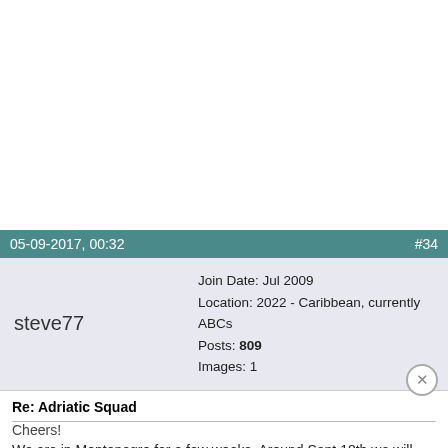05-09-2017, 00:32  #34
steve77
Join Date: Jul 2009
Location: 2022 - Caribbean, currently ABCs
Posts: 809
Images: 1
Re: Adriatic Squad
We are in Montenegro for a few weeks. Around Sept 18th we will head back south to Corfu. Anyone in Montenegro still?
Cheers!